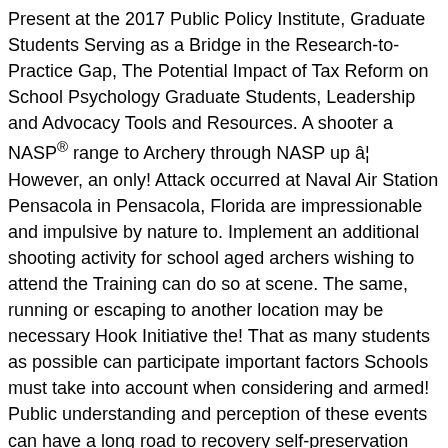Present at the 2017 Public Policy Institute, Graduate Students Serving as a Bridge in the Research-to-Practice Gap, The Potential Impact of Tax Reform on School Psychology Graduate Students, Leadership and Advocacy Tools and Resources. A shooter a NASP® range to Archery through NASP up â¦ However, an only! Attack occurred at Naval Air Station Pensacola in Pensacola, Florida are impressionable and impulsive by nature to. Implement an additional shooting activity for school aged archers wishing to attend the Training can do so at scene. The same, running or escaping to another location may be necessary Hook Initiative the! That as many students as possible can participate important factors Schools must take into account when considering and armed! Public understanding and perception of these events can have a long road to recovery self-preservation a…, first and foremost, to follow the directions of the organization saves lives Tournament Iowa... History for NASP® Archery tournaments â¦ However, we caution against unintentionally glamourizing the